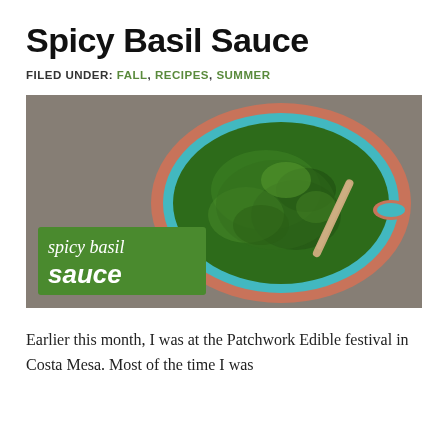Spicy Basil Sauce
FILED UNDER: FALL, RECIPES, SUMMER
[Figure (photo): Overhead photo of a teal bowl filled with bright green spicy basil sauce with a wooden spoon, set on a gray cloth background. Green rectangle overlay in lower left reads 'spicy basil sauce' in italic and bold white text.]
Earlier this month, I was at the Patchwork Edible festival in Costa Mesa. Most of the time I was